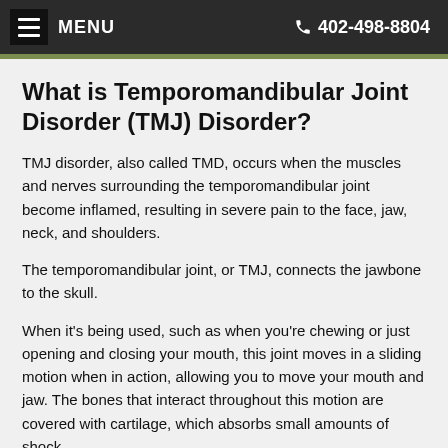MENU   402-498-8804
What is Temporomandibular Joint Disorder (TMJ) Disorder?
TMJ disorder, also called TMD, occurs when the muscles and nerves surrounding the temporomandibular joint become inflamed, resulting in severe pain to the face, jaw, neck, and shoulders.
The temporomandibular joint, or TMJ, connects the jawbone to the skull.
When it's being used, such as when you're chewing or just opening and closing your mouth, this joint moves in a sliding motion when in action, allowing you to move your mouth and jaw. The bones that interact throughout this motion are covered with cartilage, which absorbs small amounts of shock